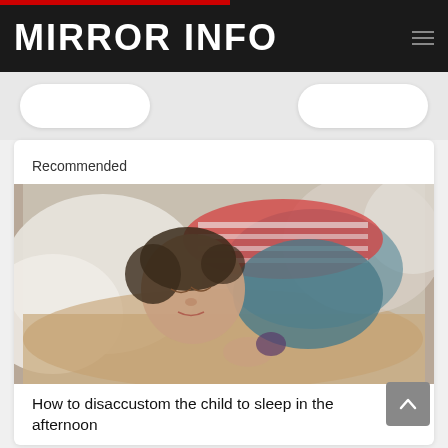MIRROR INFO
Recommended
[Figure (photo): A sleeping child lying on a bed, wearing a red and white striped shirt and denim vest, hugging a soft toy, photographed from above on white bedding.]
How to disaccustom the child to sleep in the afternoon